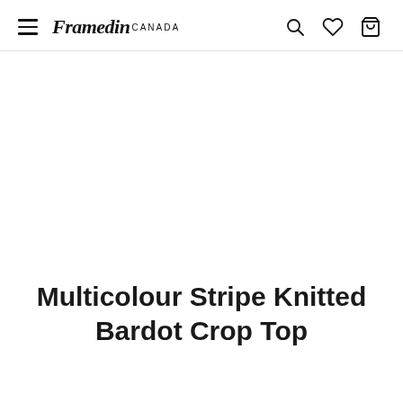Framedin CANADA
[Figure (other): White blank product image area]
Multicolour Stripe Knitted Bardot Crop Top